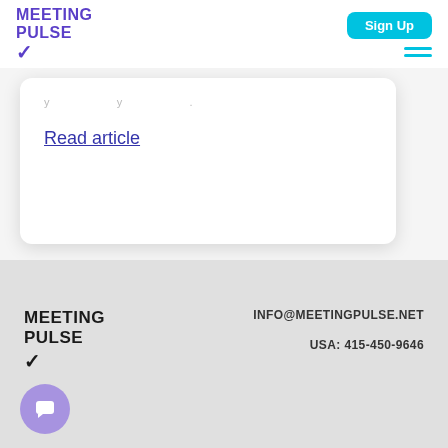MEETING PULSE
Read article
MEETING PULSE
INFO@MEETINGPULSE.NET
USA: 415-450-9646